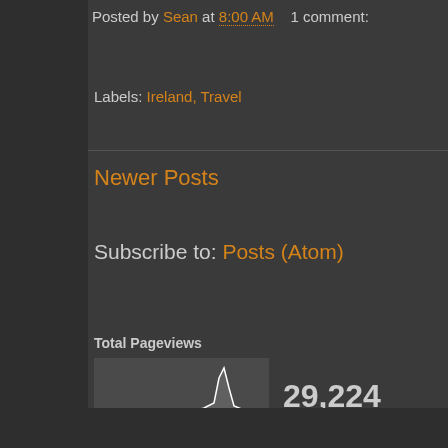Posted by Sean at 8:00 AM   1 comment:
Labels: Ireland, Travel
Newer Posts
Subscribe to: Posts (Atom)
Total Pageviews
[Figure (continuous-plot): Small area/line chart showing pageview history with a spike near the right side]
29,224